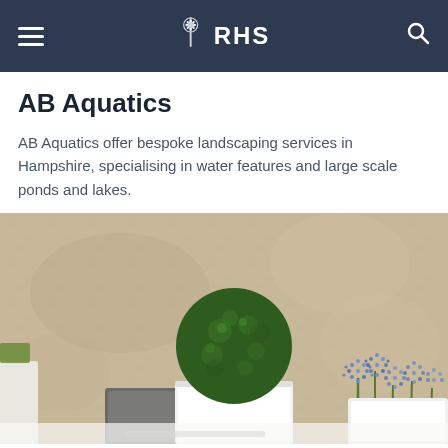RHS
AB Aquatics
AB Aquatics offer bespoke landscaping services in Hampshire, specialising in water features and large scale ponds and lakes.
[Figure (photo): Photo of potted plants including a round green topiary ball in a white rectangular planter and blue allium flowers, set against a textured beige/sand-coloured wall with white and grey modern pot elements.]